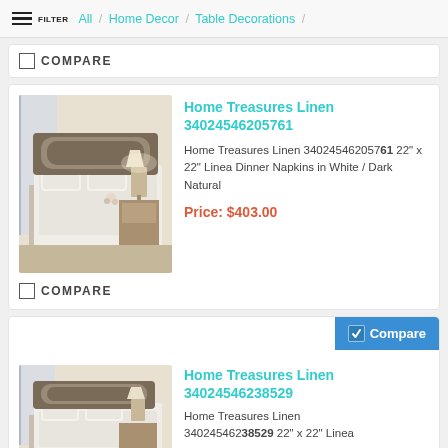FILTER / All / Home Decor / Table Decorations /
COMPARE
[Figure (photo): Bedroom scene with white bedding, ornate headboard, and nightstand with lamp]
Home Treasures Linen 340245462057561
Home Treasures Linen 340245462057561 22" x 22" Linea Dinner Napkins in White / Dark Natural
Price: $403.00
COMPARE
[Figure (photo): Bedroom scene with white bedding, ornate headboard, and nightstand with lamp]
Home Treasures Linen 340245462038529
Home Treasures Linen 340245462038529 22" x 22" Linea